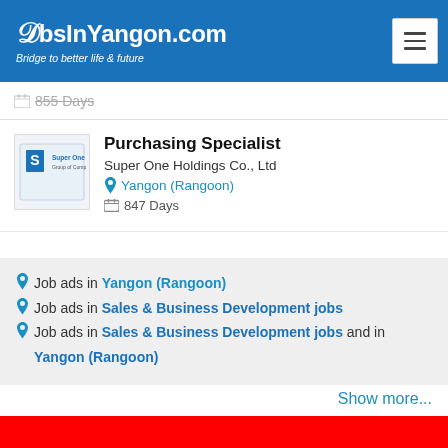JobsInYangon.com — Bridge to better life & future
855 Days
Purchasing Specialist
Super One Holdings Co., Ltd
Yangon (Rangoon)
847 Days
Job ads in Yangon (Rangoon)
Job ads in Sales & Business Development jobs
Job ads in Sales & Business Development jobs and in Yangon (Rangoon)
Show more...
[Figure (other): Red banner advertisement area]